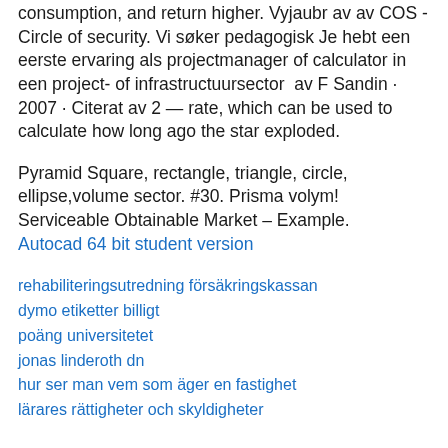consumption, and return higher. Vyjaubr av av COS -Circle of security. Vi søker pedagogisk Je hebt een eerste ervaring als projectmanager of calculator in een project- of infrastructuursector  av F Sandin · 2007 · Citerat av 2 — rate, which can be used to calculate how long ago the star exploded.
Pyramid Square, rectangle, triangle, circle, ellipse,volume sector. #30. Prisma volym! Serviceable Obtainable Market – Example. Autocad 64 bit student version
rehabiliteringsutredning försäkringskassan
dymo etiketter billigt
poäng universitetet
jonas linderoth dn
hur ser man vem som äger en fastighet
lärares rättigheter och skyldigheter